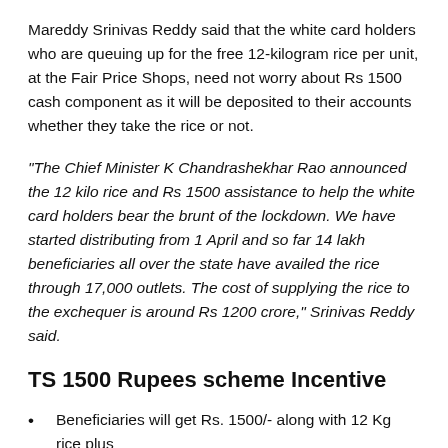Mareddy Srinivas Reddy said that the white card holders who are queuing up for the free 12-kilogram rice per unit, at the Fair Price Shops, need not worry about Rs 1500 cash component as it will be deposited to their accounts whether they take the rice or not.
“The Chief Minister K Chandrashekhar Rao announced the 12 kilo rice and Rs 1500 assistance to help the white card holders bear the brunt of the lockdown. We have started distributing from 1 April and so far 14 lakh beneficiaries all over the state have availed the rice through 17,000 outlets. The cost of supplying the rice to the exchequer is around Rs 1200 crore,” Srinivas Reddy said.
TS 1500 Rupees scheme Incentive
Beneficiaries will get Rs. 1500/- along with 12 Kg rice plus